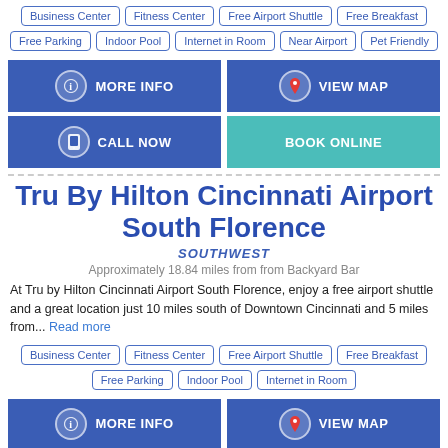Business Center, Fitness Center, Free Airport Shuttle, Free Breakfast, Free Parking, Indoor Pool, Internet in Room, Near Airport, Pet Friendly
[Figure (infographic): Two blue buttons: MORE INFO (with info icon) and VIEW MAP (with map pin icon)]
[Figure (infographic): Two buttons: CALL NOW (blue, with phone icon) and BOOK ONLINE (teal)]
Tru By Hilton Cincinnati Airport South Florence
SOUTHWEST
Approximately 18.84 miles from from Backyard Bar
At Tru by Hilton Cincinnati Airport South Florence, enjoy a free airport shuttle and a great location just 10 miles south of Downtown Cincinnati and 5 miles from... Read more
Business Center, Fitness Center, Free Airport Shuttle, Free Breakfast, Free Parking, Indoor Pool, Internet in Room
[Figure (infographic): Two blue buttons at bottom: MORE INFO (with info icon) and VIEW MAP (with map pin icon)]